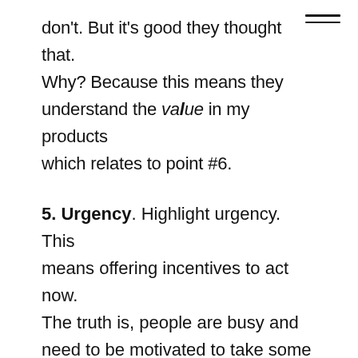don't. But it's good they thought that. Why? Because this means they understand the value in my products which relates to point #6.
5. Urgency. Highlight urgency. This means offering incentives to act now. The truth is, people are busy and need to be motivated to take some sort of action NOW or it'll be pushed to their back burner.
How can you highlight urgency? Offer